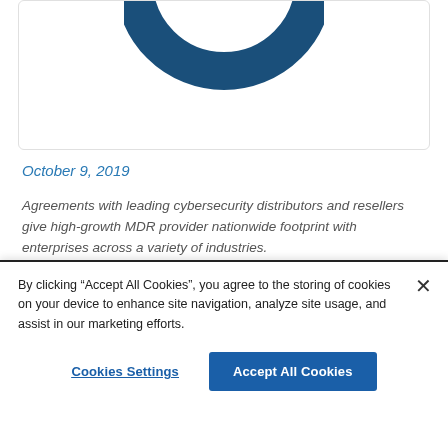[Figure (logo): Partial circular dark blue donut/ring logo at top of card]
October 9, 2019
Agreements with leading cybersecurity distributors and resellers give high-growth MDR provider nationwide footprint with enterprises across a variety of industries.
PLANO, Texas, Oct. 9, 2019 /PRNewswire/ —
By clicking “Accept All Cookies”, you agree to the storing of cookies on your device to enhance site navigation, analyze site usage, and assist in our marketing efforts.
Cookies Settings
Accept All Cookies